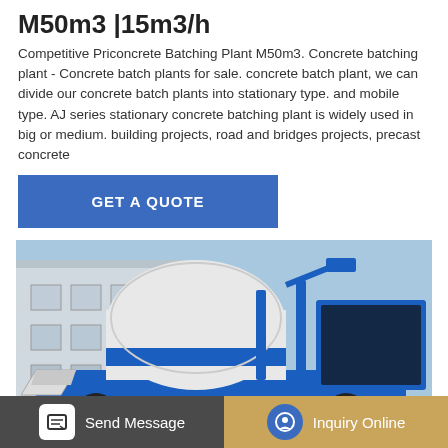M50m3 |15m3/h
Competitive Priconcrete Batching Plant M50m3. Concrete batching plant - Concrete batch plants for sale. concrete batch plant, we can divide our concrete batch plants into stationary type. and mobile type. AJ series stationary concrete batching plant is widely used in big or medium. building projects, road and bridges projects, precast concrete
GET A QUOTE
[Figure (photo): A blue and white mobile concrete batching/mixing truck parked in front of a building, viewed from the side. The machine is large and industrial, with a white drum mixer on top and blue metal framework.]
Send Message
Inquiry Online